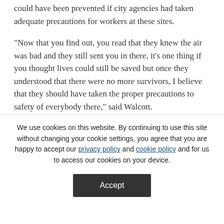could have been prevented if city agencies had taken adequate precautions for workers at these sites.
"Now that you find out, you read that they knew the air was bad and they still sent you in there, it's one thing if you thought lives could still be saved but once they understood that there were no more survivors, I believe that they should have taken the proper precautions to safety of everybody there," said Walcott.
In 2004, Walcott was one of the first WTC recovery workers to file a lawsuit against the city and agencies involved in the clean up, for failing to adequately safeguard his health from at least Ground Zero and Fresh Kills landfill and f...
We use cookies on this website. By continuing to use this site without changing your cookie settings, you agree that you are happy to accept our privacy policy and cookie policy and for us to access our cookies on your device.